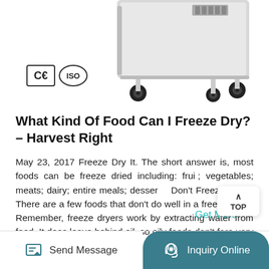[Figure (photo): Freeze dryer machine (white/gray) with black caster wheels, partially visible from above. CE and ISO certification badges shown in bottom-left of image.]
What Kind Of Food Can I Freeze Dry? - Harvest Right
May 23, 2017 Freeze Dry It. The short answer is, most foods can be freeze dried including: fruit; vegetables; meats; dairy; entire meals; desserts; Don't Freeze Dry It. There are a few foods that don't do well in a freeze dryer. Remember, freeze dryers work by extracting water from food. It does leave behind oil, so oily foods don't fare very well in ...
Get More →
Send Message    Inquiry Online